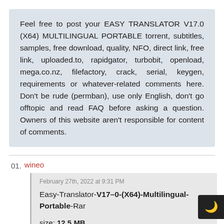Feel free to post your EASY TRANSLATOR V17.0 (X64) MULTILINGUAL PORTABLE torrent, subtitles, samples, free download, quality, NFO, direct link, free link, uploaded.to, rapidgator, turbobit, openload, mega.co.nz, filefactory, crack, serial, keygen, requirements or whatever-related comments here. Don't be rude (permban), use only English, don't go offtopic and read FAQ before asking a question. Owners of this website aren't responsible for content of comments.
01.  wineo
February 27th, 2022 at 9:31 PM
Easy-Translator-V17–0-(X64)-Multilingual-Portable-Rar
size: 12,5 MB
Dropapk:
https://dropapk.to/5kv24mknq21r/Easy.Trans